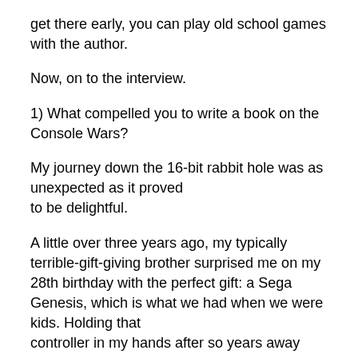get there early, you can play old school games with the author.
Now, on to the interview.
1) What compelled you to write a book on the Console Wars?
My journey down the 16-bit rabbit hole was as unexpected as it proved to be delightful.
A little over three years ago, my typically terrible-gift-giving brother surprised me on my 28th birthday with the perfect gift: a Sega Genesis, which is what we had when we were kids. Holding that controller in my hands after so years away from